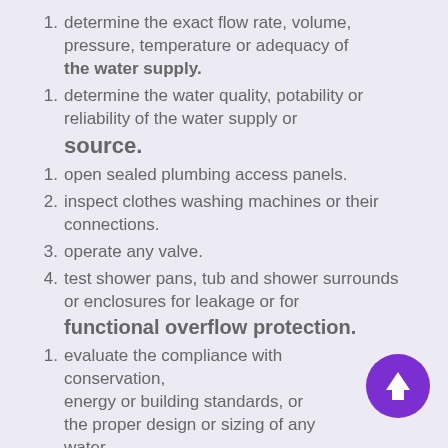determine the exact flow rate, volume, pressure, temperature or adequacy of the water supply.
determine the water quality, potability or reliability of the water supply or source.
open sealed plumbing access panels.
inspect clothes washing machines or their connections.
operate any valve.
test shower pans, tub and shower surrounds or enclosures for leakage or for functional overflow protection.
evaluate the compliance with conservation, energy or building standards, or the proper design or sizing of any water, waste or venting components, fixtures or piping.